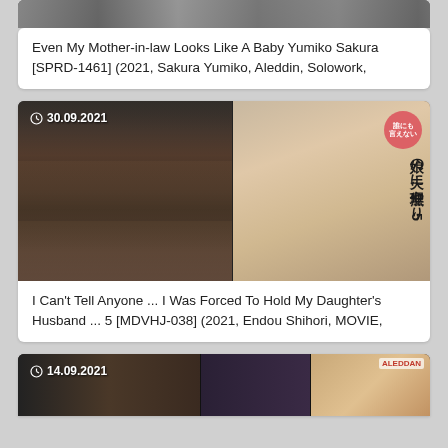[Figure (photo): Partial top image strip of Japanese adult video cover art]
Even My Mother-in-law Looks Like A Baby Yumiko Sakura [SPRD-1461] (2021, Sakura Yumiko, Aleddin, Solowork,
[Figure (photo): Japanese adult video cover art with timestamp 30.09.2021]
I Can't Tell Anyone ... I Was Forced To Hold My Daughter's Husband ... 5 [MDVHJ-038] (2021, Endou Shihori, MOVIE,
[Figure (photo): Partial bottom image strip of Japanese adult video cover art with timestamp 14.09.2021]